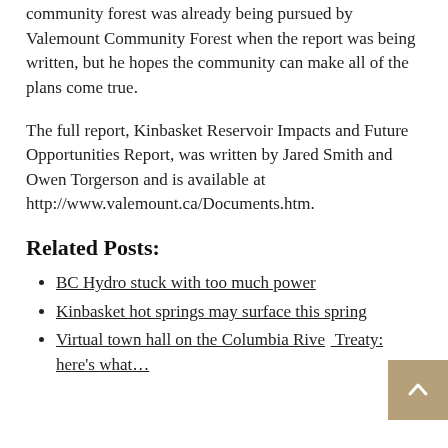community forest was already being pursued by Valemount Community Forest when the report was being written, but he hopes the community can make all of the plans come true.
The full report, Kinbasket Reservoir Impacts and Future Opportunities Report, was written by Jared Smith and Owen Torgerson and is available at http://www.valemount.ca/Documents.htm.
Related Posts:
BC Hydro stuck with too much power
Kinbasket hot springs may surface this spring
Virtual town hall on the Columbia River Treaty: here's what…